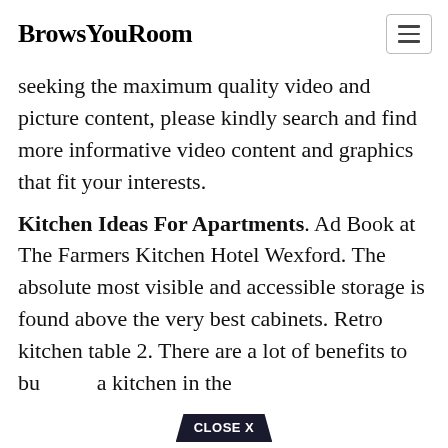BrowsYouRoom
seeking the maximum quality video and picture content, please kindly search and find more informative video content and graphics that fit your interests.
Kitchen Ideas For Apartments. Ad Book at The Farmers Kitchen Hotel Wexford. The absolute most visible and accessible storage is found above the very best cabinets. Retro kitchen table 2. There are a lot of benefits to building a kitchen in the